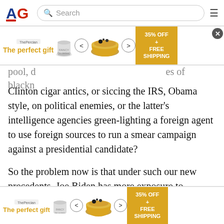[Figure (logo): American Greatness (AG) logo in red/blue with search bar and hamburger menu]
[Figure (infographic): Advertisement banner: The perfect gift - 35% OFF + FREE SHIPPING with product images and navigation arrows]
pool, d... es of blackn...
Clinton cigar antics, or siccing the IRS, Obama style, on political enemies, or the latter's intelligence agencies green-lighting a foreign agent to use foreign sources to run a smear campaign against a presidential candidate?
So the problem now is that under such our new precedents, Joe Biden has more exposure to investigations of his own family's criminality and behavior than Trump ever had.
If Trump was rash, Biden really is cognitively compromised and would not fare as well against the sam
[Figure (infographic): Advertisement banner bottom: The perfect gift - 35% OFF + FREE SHIPPING with product images and navigation arrows]